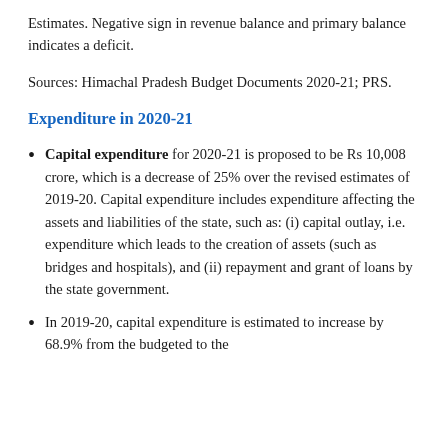Estimates. Negative sign in revenue balance and primary balance indicates a deficit.
Sources: Himachal Pradesh Budget Documents 2020-21; PRS.
Expenditure in 2020-21
Capital expenditure for 2020-21 is proposed to be Rs 10,008 crore, which is a decrease of 25% over the revised estimates of 2019-20. Capital expenditure includes expenditure affecting the assets and liabilities of the state, such as: (i) capital outlay, i.e. expenditure which leads to the creation of assets (such as bridges and hospitals), and (ii) repayment and grant of loans by the state government.
In 2019-20, capital expenditure is estimated to increase by 68.9% from the budgeted to the